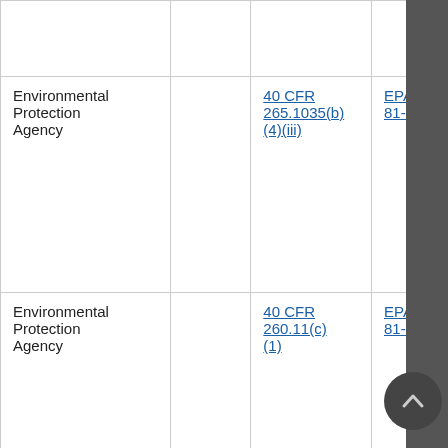|  |  |  |  |
| Environmental Protection Agency |  | 40 CFR 265.1035(b)(4)(iii) | EPA-450/3-81-005 |
| Environmental Protection Agency |  | 40 CFR 260.11(c)(1) | EPA-450/3-81-005 |